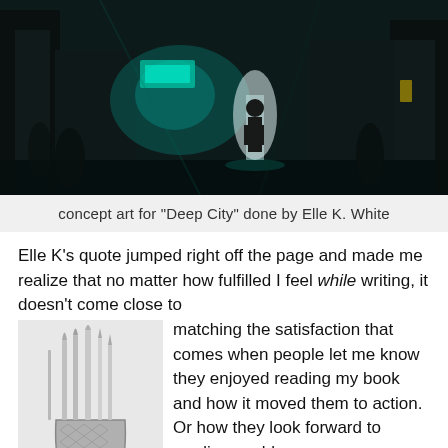[Figure (illustration): Concept art showing a dark futuristic city alley scene with glowing teal/cyan lights and a silhouetted figure walking away, done in digital painting style by Elle K. White for 'Deep City']
concept art for "Deep City" done by Elle K. White
Elle K's quote jumped right off the page and made me realize that no matter how fulfilled I feel while writing, it doesn't come close to matching the satisfaction that comes when people let me know they enjoyed reading my book and how it moved them to action. Or how they look forward to reading my blogs. Knowing my words have not
[Figure (illustration): Black and white illustration of art supplies (paintbrushes and pencils) in a holder/cup]